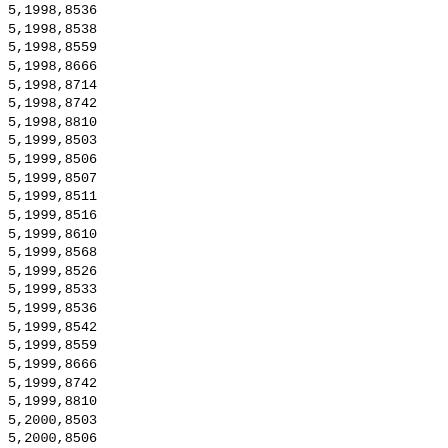5,1998,8536
5,1998,8538
5,1998,8559
5,1998,8666
5,1998,8714
5,1998,8742
5,1998,8810
5,1999,8503
5,1999,8506
5,1999,8507
5,1999,8511
5,1999,8516
5,1999,8610
5,1999,8568
5,1999,8526
5,1999,8533
5,1999,8536
5,1999,8542
5,1999,8559
5,1999,8666
5,1999,8742
5,1999,8810
5,2000,8503
5,2000,8506
5,2000,8507
5,2000,8511
5,2000,8516
5,2000,8609
5,2000,8568
5,2000,8526